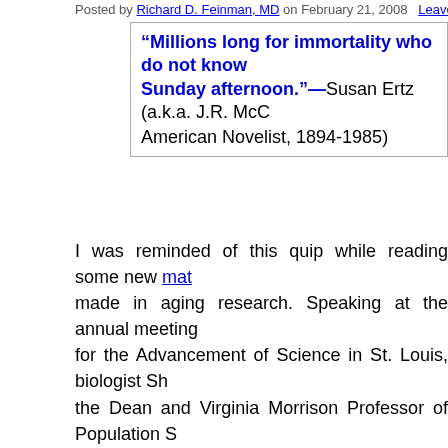Posted by Richard D. Feinman, MD on February 21, 2008  Leave a C
“Millions long for immortality who do not know what to do with a rainy Sunday afternoon.”—Susan Ertz (a.k.a. J.R. McC American Novelist, 1894-1985)
I was reminded of this quip while reading some new mat made in aging research. Speaking at the annual meeting for the Advancement of Science in St. Louis, biologist Sh the Dean and Virginia Morrison Professor of Population S highlighted some of the issues surrounding the extension something that I have been tracking closely for over twe that the cells of people with diabetes mellitus age more c culture, even if they are away from the high glucose of th There is a link between premature aging and diabetes. It is widely known in the scientific community that there h progress on aging research, much of it done behind the pharmaceutical companies. According to Professor Tulja 2030, the modal, or most common, age of death will incr therapies come into widespread use. This projected incre sophisticated modeling, and reflects a life-span growth ra than the current rate. If accurate, this would increase the industrialized countries such as the United States from ro